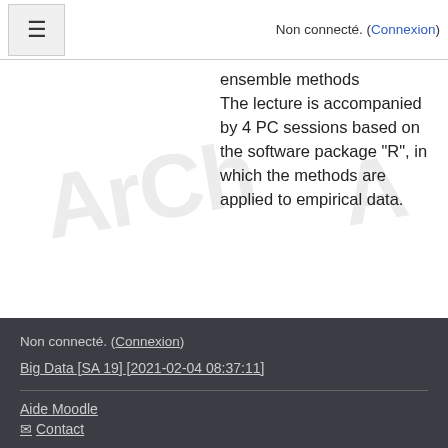Non connecté. (Connexion)
ensemble methods
The lecture is accompanied by 4 PC sessions based on the software package "R", in which the methods are applied to empirical data.
Non connecté. (Connexion)
Big Data [SA 19] [2021-02-04 08:37:11]
Aide Moodle
Contact